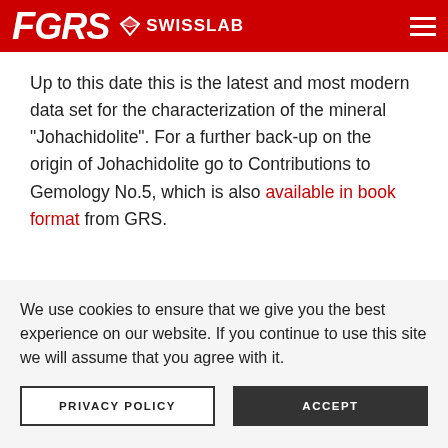GRS SWISSLAB
Up to this date this is the latest and most modern data set for the characterization of the mineral “Johachidolite”. For a further back-up on the origin of Johachidolite go to Contributions to Gemology No.5, which is also available in book format from GRS.
We use cookies to ensure that we give you the best experience on our website. If you continue to use this site we will assume that you agree with it.
PRIVACY POLICY
ACCEPT